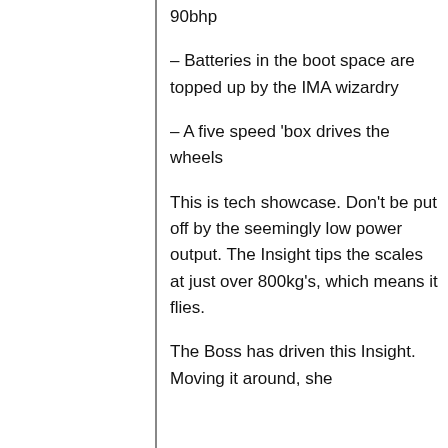90bhp
– Batteries in the boot space are topped up by the IMA wizardry
– A five speed 'box drives the wheels
This is tech showcase. Don't be put off by the seemingly low power output. The Insight tips the scales at just over 800kg's, which means it flies.
The Boss has driven this Insight. Moving it around, she